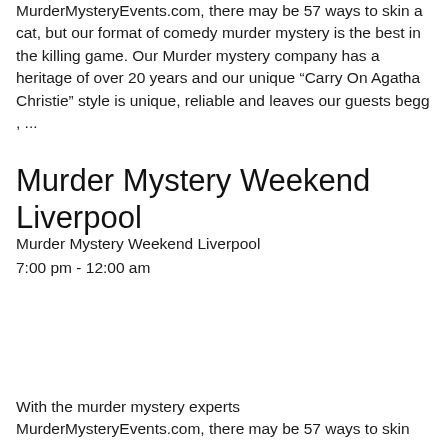MurderMysteryEvents.com, there may be 57 ways to skin a cat, but our format of comedy murder mystery is the best in the killing game. Our Murder mystery company has a heritage of over 20 years and our unique “Carry On Agatha Christie” style is unique, reliable and leaves our guests begg , ...
Murder Mystery Weekend Liverpool
Murder Mystery Weekend Liverpool
7:00 pm - 12:00 am
With the murder mystery experts
MurderMysteryEvents.com, there may be 57 ways to skin